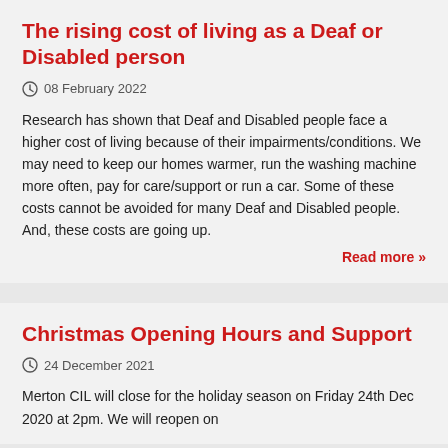The rising cost of living as a Deaf or Disabled person
08 February 2022
Research has shown that Deaf and Disabled people face a higher cost of living because of their impairments/conditions. We may need to keep our homes warmer, run the washing machine more often, pay for care/support or run a car. Some of these costs cannot be avoided for many Deaf and Disabled people. And, these costs are going up.
Read more »
Christmas Opening Hours and Support
24 December 2021
Merton CIL will close for the holiday season on Friday 24th Dec 2020 at 2pm. We will reopen on